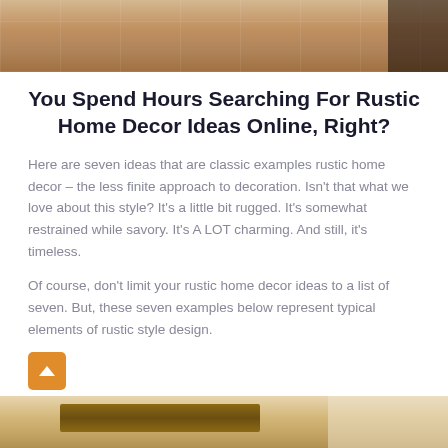[Figure (photo): Top portion of a rustic interior photo showing terracotta tile floor and wooden furniture with dark ironwork visible at right edge]
You Spend Hours Searching For Rustic Home Decor Ideas Online, Right?
Here are seven ideas that are classic examples rustic home decor – the less finite approach to decoration. Isn't that what we love about this style? It's a little bit rugged. It's somewhat restrained while savory. It's A LOT charming. And still, it's timeless.
Of course, don't limit your rustic home decor ideas to a list of seven. But, these seven examples below represent typical elements of rustic style design.
[Figure (photo): Bottom portion showing rustic wooden ceiling beam against white wall/ceiling — partial view at bottom of page]